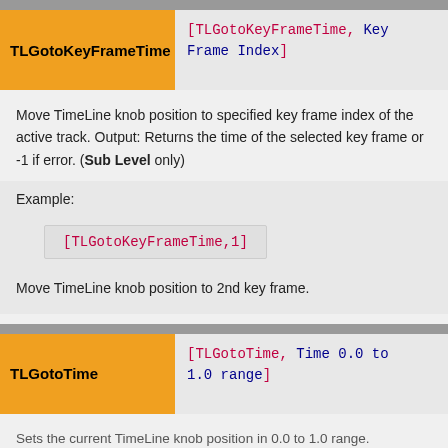TLGotoKeyFrameTime   [TLGotoKeyFrameTime, Key Frame Index]
Move TimeLine knob position to specified key frame index of the active track. Output: Returns the time of the selected key frame or -1 if error. (Sub Level only)
Example:
Move TimeLine knob position to 2nd key frame.
TLGotoTime   [TLGotoTime, Time 0.0 to 1.0 range]
Sets the current TimeLine knob position in 0.0 to 1.0 range.